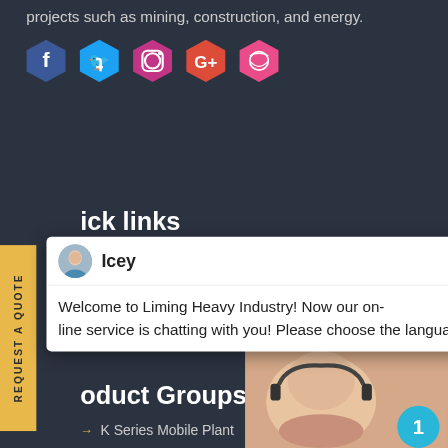projects such as mining, construction, and energy.
[Figure (infographic): Five hexagonal social media icons: Facebook (blue), Twitter (blue), Instagram (pink), Google+ (red/orange), Dribbble (pink)]
ick links
[Figure (screenshot): Live chat popup window with avatar labeled 'Icey', message: 'Welcome to Liming Heavy Industry! Now our on-line service is chatting with you! Please choose the language :']
ontact
oduct Groups
K Series Mobile Plant
Secondary Cone Crusher + Screen
LM Vertical Mill
[Figure (photo): Customer service agent photo with headset and cyan notification badge showing '1', below: 'Have any requests, click here.' text in italic white, chevron icon, and orange Quotation button]
Have any requests, click here.
Quotation
[Figure (infographic): Yellow vertical sidebar tab reading 'REQUEST A QUOTE' rotated 90 degrees]